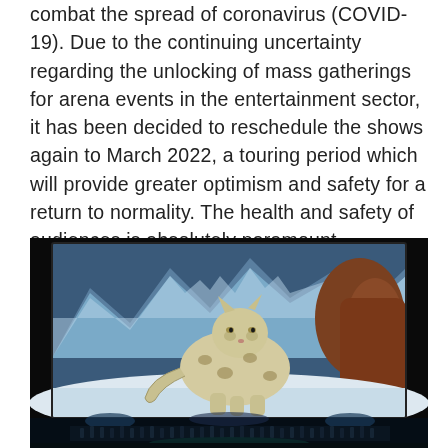combat the spread of coronavirus (COVID-19). Due to the continuing uncertainty regarding the unlocking of mass gatherings for arena events in the entertainment sector, it has been decided to reschedule the shows again to March 2022, a touring period which will provide greater optimism and safety for a return to normality. The health and safety of audiences is absolutely paramount.
[Figure (photo): A large arena concert screen displaying a snow leopard standing on snowy rocks with a blue mountain backdrop. Below the screen, an orchestra is visible on stage in a dimly lit arena venue.]